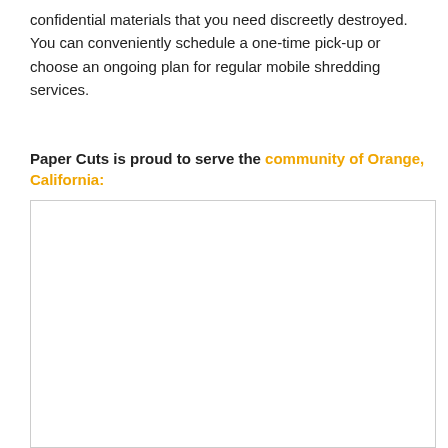confidential materials that you need discreetly destroyed. You can conveniently schedule a one-time pick-up or choose an ongoing plan for regular mobile shredding services.
Paper Cuts is proud to serve the community of Orange, California:
[Figure (map): A map showing the community of Orange, California served by Paper Cuts shredding services.]